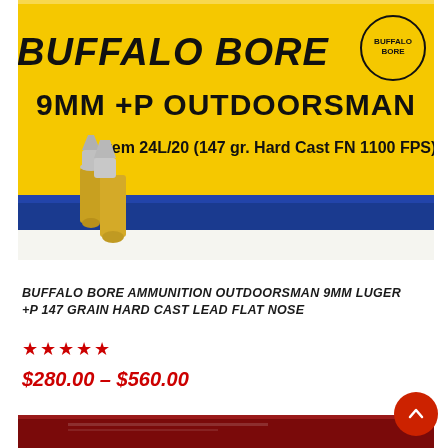[Figure (photo): Buffalo Bore ammunition box — yellow and blue box labeled 'BUFFALO BORE' at top, '9MM +P OUTDOORSMAN', Item 24L/20 (147 gr. Hard Cast FN 1100 FPS), with two brass 9mm cartridges in front]
BUFFALO BORE AMMUNITION OUTDOORSMAN 9MM LUGER +P 147 GRAIN HARD CAST LEAD FLAT NOSE
★★★★★
$280.00 – $560.00
[Figure (photo): Partial view of a dark red/maroon ammunition box at the bottom of the page]